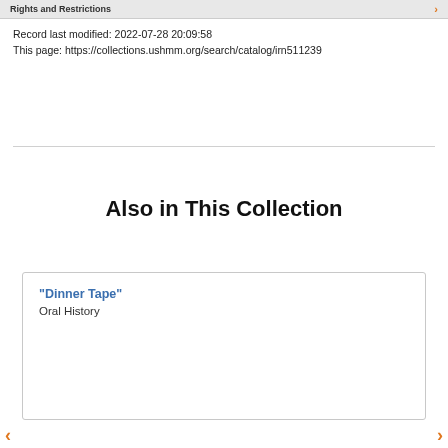Rights and Restrictions
Record last modified: 2022-07-28 20:09:58
This page: https://collections.ushmm.org/search/catalog/irn511239
Also in This Collection
"Dinner Tape"
Oral History